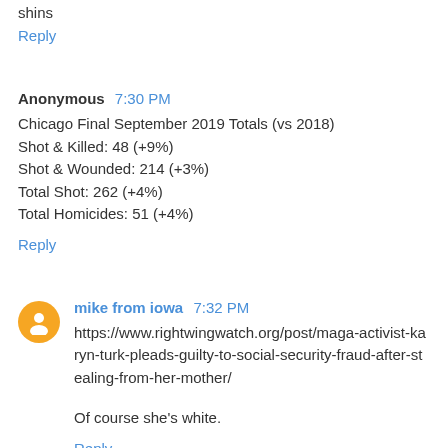shins
Reply
Anonymous 7:30 PM
Chicago Final September 2019 Totals (vs 2018)
Shot & Killed: 48 (+9%)
Shot & Wounded: 214 (+3%)
Total Shot: 262 (+4%)
Total Homicides: 51 (+4%)
Reply
mike from iowa 7:32 PM
https://www.rightwingwatch.org/post/maga-activist-karyn-turk-pleads-guilty-to-social-security-fraud-after-stealing-from-her-mother/
Of course she's white.
Reply